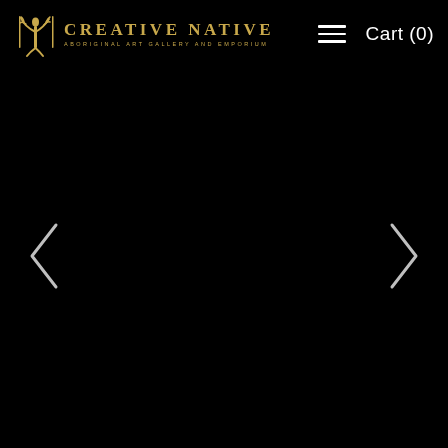Creative Native - Aboriginal Art Gallery and Emporium | Cart (0)
[Figure (screenshot): Website screenshot of Creative Native Aboriginal Art Gallery and Emporium. Black background with logo on left, hamburger menu and cart on right. Navigation arrows (< and >) on left and right sides of the main dark image area.]